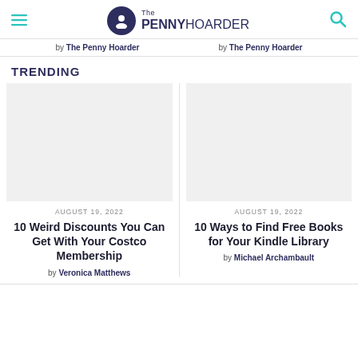The PENNY HOARDER
by The Penny Hoarder | by The Penny Hoarder
TRENDING
AUGUST 19, 2022
10 Weird Discounts You Can Get With Your Costco Membership
by Veronica Matthews
AUGUST 19, 2022
10 Ways to Find Free Books for Your Kindle Library
by Michael Archambault